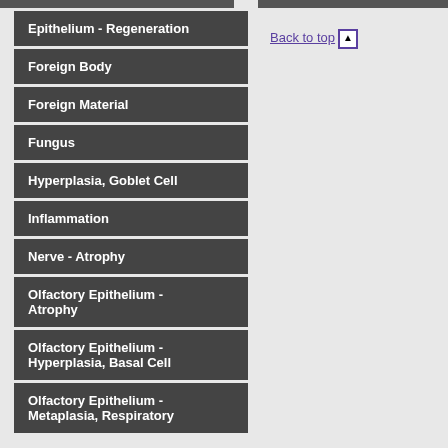Epithelium - Regeneration
Foreign Body
Foreign Material
Fungus
Hyperplasia, Goblet Cell
Inflammation
Nerve - Atrophy
Olfactory Epithelium - Atrophy
Olfactory Epithelium - Hyperplasia, Basal Cell
Olfactory Epithelium - Metaplasia, Respiratory
Back to top